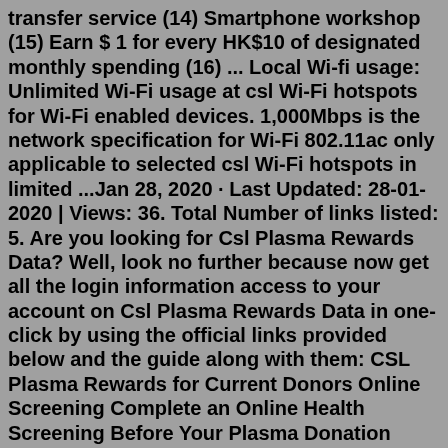transfer service (14) Smartphone workshop (15) Earn $ 1 for every HK$10 of designated monthly spending (16) ... Local Wi-fi usage: Unlimited Wi-Fi usage at csl Wi-Fi hotspots for Wi-Fi enabled devices. 1,000Mbps is the network specification for Wi-Fi 802.11ac only applicable to selected csl Wi-Fi hotspots in limited ...Jan 28, 2020 · Last Updated: 28-01-2020 | Views: 36. Total Number of links listed: 5. Are you looking for Csl Plasma Rewards Data? Well, look no further because now get all the login information access to your account on Csl Plasma Rewards Data in one-click by using the official links provided below and the guide along with them: CSL Plasma Rewards for Current Donors Online Screening Complete an Online Health Screening Before Your Plasma Donation Engineered for your safety. Avoid the kiosk lines, complete SAHH Questionnaire online. How It Works (powered by Donor360) Complete the day of your donation* Complete the questionnaire independently Receive a CSL Pass once completedI